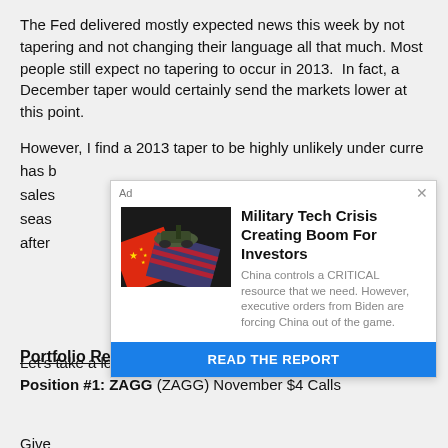The Fed delivered mostly expected news this week by not tapering and not changing their language all that much. Most people still expect no tapering to occur in 2013.  In fact, a December taper would certainly send the markets lower at this point.
However, I find a 2013 taper to be highly unlikely under curre... has b... sales... seas... after...
[Figure (infographic): Advertisement overlay: 'Military Tech Crisis Creating Boom For Investors' with image of flags and military vehicle, subtext about China and Biden executive orders, and a blue READ THE REPORT button.]
Give... don't... know... holid...
Let's take a look at the portfolio.
Portfolio Recap
Position #1: ZAGG (ZAGG) November $4 Calls